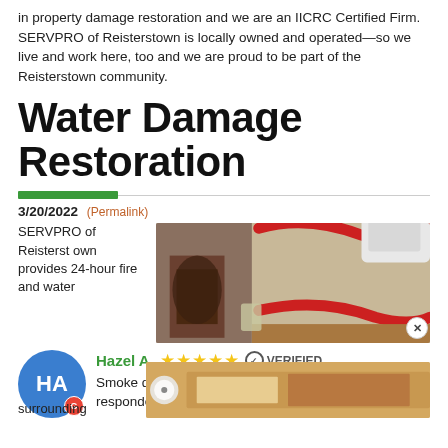in property damage restoration and we are an IICRC Certified Firm. SERVPRO of Reisterstown is locally owned and operated—so we live and work here, too and we are proud to be part of the Reisterstown community.
Water Damage Restoration
3/20/2022 (Permalink)
SERVPRO of Reisterstown provides 24-hour fire and water
[Figure (photo): Photo of water damage restoration equipment including red hoses and damaged wall]
Hazel A. ★★★★★ VERIFIED
Smoke damage caused damage to our condo. Servpro responded to help! We are thankful. More
surrounding